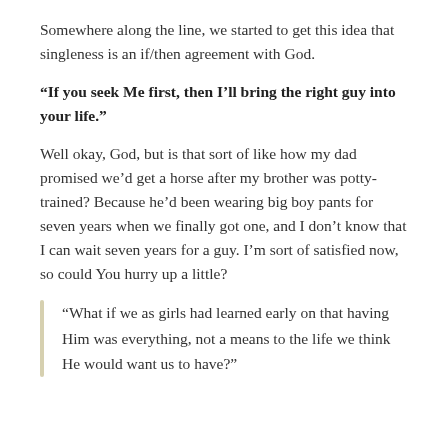Somewhere along the line, we started to get this idea that singleness is an if/then agreement with God.
“If you seek Me first, then I’ll bring the right guy into your life.”
Well okay, God, but is that sort of like how my dad promised we’d get a horse after my brother was potty-trained? Because he’d been wearing big boy pants for seven years when we finally got one, and I don’t know that I can wait seven years for a guy. I’m sort of satisfied now, so could You hurry up a little?
“What if we as girls had learned early on that having Him was everything, not a means to the life we think He would want us to have?”